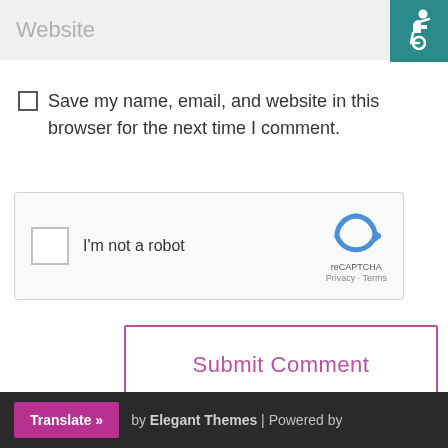Website
[Figure (illustration): Accessibility icon (wheelchair user) on teal background in top-right corner]
Save my name, email, and website in this browser for the next time I comment.
[Figure (screenshot): reCAPTCHA widget with checkbox labeled 'I'm not a robot', reCAPTCHA logo, Privacy and Terms links]
Submit Comment
Translate » by Elegant Themes | Powered by